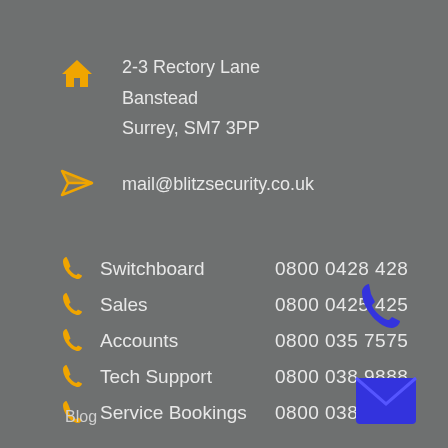2-3 Rectory Lane
Banstead
Surrey, SM7 3PP
mail@blitzsecurity.co.uk
Switchboard   0800 0428 428
Sales   0800 0425 425
Accounts   0800 035 7575
Tech Support   0800 038 9888
Service Bookings   0800 038 2888
Blog